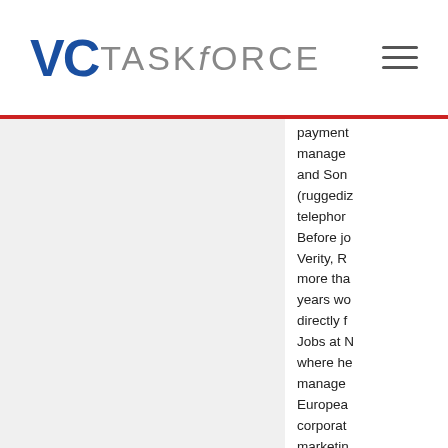VC TASKFORCE
payment manage and Son (ruggediz telephor Before jo Verity, R more tha years wo directly t Jobs at N where he manage Europea corporat marketin